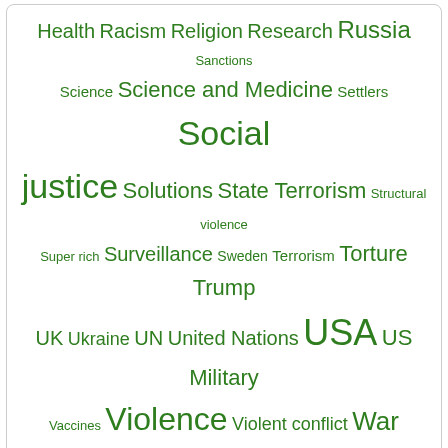[Figure (infographic): Tag cloud with topics including Health, Racism, Religion, Research, Russia, Sanctions, Science, Science and Medicine, Settlers, Social justice, Solutions, State Terrorism, Structural violence, Super rich, Surveillance, Sweden, Terrorism, Torture, Trump, UK, Ukraine, UN, United Nations, USA, US Military, Vaccines, Violence, Violent conflict, War, Warfare, War on Terror, West, West Bank, Whistleblowing, WHO, WikiLeaks, World, Zionism]
Categories
EDITORIAL
TRANSCEND VIDEOS
FEATURED RESEARCH PAPER
TRANSCEND News
NONVIOLENCE
NEWS
TMS PEACE JOURNALISM
NOBEL LAUREATES
CONFLICT RESOLUTION – MEDIATION
HUMAN RIGHTS